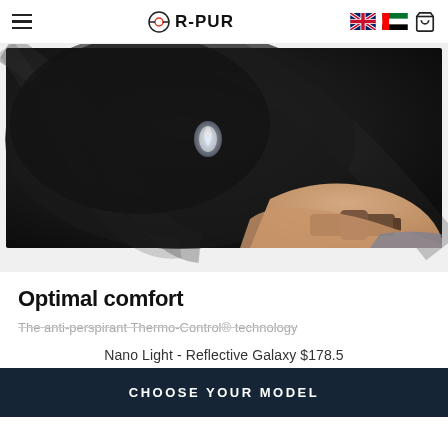R-PUR
[Figure (photo): Close-up of a black fabric mask held by a person's hand with a watch, showing a small transparent logo/ventilation port on the dark textile surface.]
Optimal comfort
The anti-perspirant Thermo-Control® technology
Nano Light - Reflective Galaxy $178.5
CHOOSE YOUR MODEL